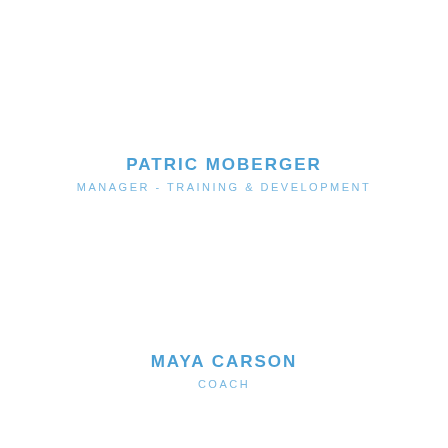PATRIC MOBERGER
MANAGER - TRAINING & DEVELOPMENT
MAYA CARSON
COACH